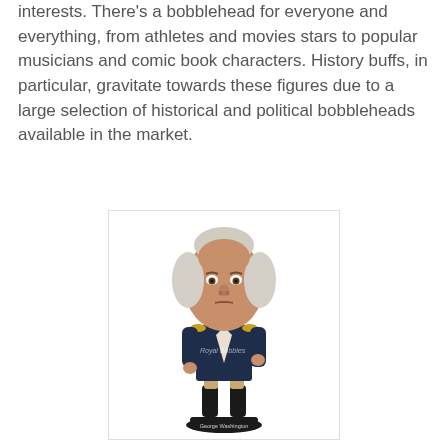interests. There's a bobblehead for everyone and everything, from athletes and movies stars to popular musicians and comic book characters. History buffs, in particular, gravitate towards these figures due to a large selection of historical and political bobbleheads available in the market.
[Figure (photo): A George Washington bobblehead figurine wearing a Revolutionary War military uniform (dark blue coat with gold epaulettes, white shirt, tan pants, black boots), with an oversized head featuring white/gray colonial-era hair. The figurine stands on a black base labeled 'George Washington'. A 'Royal Bobbles' watermark is visible on the figure.]